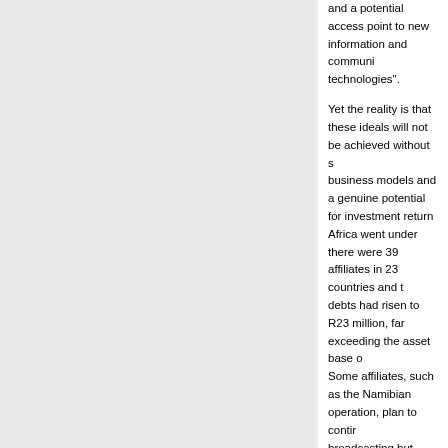and a potential access point to new information and communication technologies".
Yet the reality is that these ideals will not be achieved without sound business models and a genuine potential for investment return. When TV Africa went under there were 39 affiliates in 23 countries and the company's debts had risen to R23 million, far exceeding the asset base of R6 million. Some affiliates, such as the Namibian operation, plan to continue broadcasting but many will close or return to what the Zambezi calls "the era of programme piracy".
The positive spin on this is that Africa is still a massive and largely under-serviced broadcast market with authentic opportunities for those who understand the environment.
There's also a particular view on TV Africa's collapse that is strangely optimistic: It was a result of bad management, a lack of appreciation of the subtleties of operating on the continent, and minimal experience in the broadcast space. "We were keen to go with TV Africa into the continent, "says e.tv director Quraysh Patel, " but we found that they didn't read the market the same way we did. I was also concerned about the ownership structures". Add Kemp: "The management team hadn't traded in Africa before. They assumed their affiliation with multinationals would carry them through, but those mulnationals had already paid their school fees".
Information for consulting companies and regional experts
In the implementation of their regional integration mandates, COMESA, IOC, IGAD and EAC call on the services of long and short term experts recruited within the Eastern and Southern Africa and Indian Ocean (ESA)
In order to respond to this need, the IRCC (Inter- Regional Co-ordination Committee) has set up a database of regional experts (consulting companies and individual experts) from the ESA region.
To register, interested candidates can: